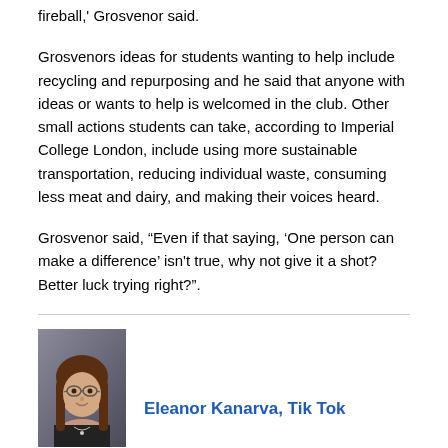fireball,' Grosvenor said.
Grosvenors ideas for students wanting to help include recycling and repurposing and he said that anyone with ideas or wants to help is welcomed in the club. Other small actions students can take, according to Imperial College London, include using more sustainable transportation, reducing individual waste, consuming less meat and dairy, and making their voices heard.
Grosvenor said, “Even if that saying, ‘One person can make a difference’ isn't true, why not give it a shot? Better luck trying right?”.
[Figure (photo): Headshot photo of a young woman with long brown hair and glasses, smiling, wearing a dark top with a necklace, against a grey background.]
Eleanor Kanarva, Tik Tok